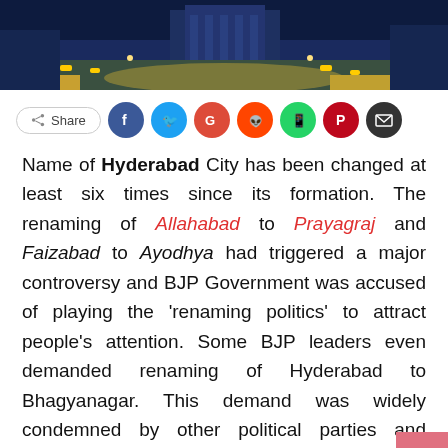[Figure (photo): Aerial night view of a busy city intersection or plaza, likely Hyderabad, with lights and large buildings visible]
Share (social media share buttons: Facebook, Twitter, Google+, Reddit, WhatsApp, Pinterest, Email)
Name of Hyderabad City has been changed at least six times since its formation. The renaming of Allahabad to Prayagraj and Faizabad to Ayodhya had triggered a major controversy and BJP Government was accused of playing the 'renaming politics' to attract people's attention. Some BJP leaders even demanded renaming of Hyderabad to Bhagyanagar. This demand was widely condemned by other political parties and groups.